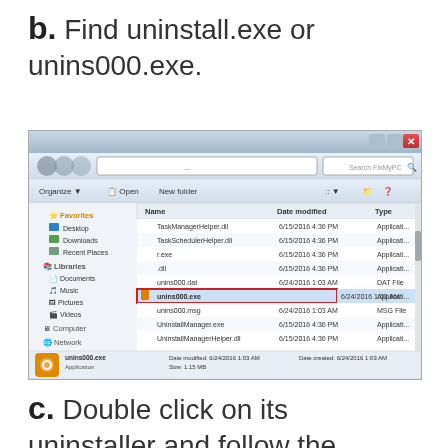b. Find uninstall.exe or unins000.exe.
[Figure (screenshot): Windows Explorer window showing a file listing with unins000.exe highlighted/selected with a red border, along with other files like TaskManagerHelper.dll, TaskSchedulerHelper.dll, unins000.dat, unins000.msg, UninstallManager.exe, UninstallManagerHelper.dll, vc160.bpl, vcfld100.bpl, vcimg160.bpl, VolumeHelper.dll. The bottom panel shows unins000.exe details: Date modified 6/24/2016 1:03 AM, Date created 6/24/2016 1:03 AM, Application, Size: 1.15 MB.]
c. Double click on its uninstaller and follow the wizard to uninstall